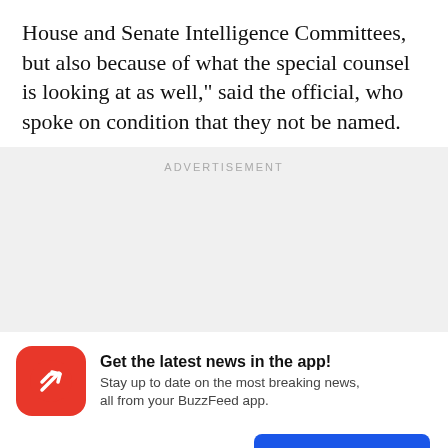House and Senate Intelligence Committees, but also because of what the special counsel is looking at as well," said the official, who spoke on condition that they not be named.
ADVERTISEMENT
[Figure (infographic): Advertisement placeholder area with gray background]
Get the latest news in the app! Stay up to date on the most breaking news, all from your BuzzFeed app.
Maybe later
Get the app